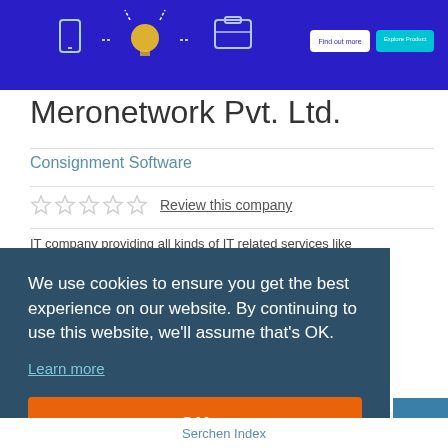[Figure (screenshot): Banner image with blue background, tech icons (phone, lightbulb, briefcase), and two buttons: 'Find out more' and 'Explore Product']
Meronetwork Pvt. Ltd.
Consignment Software
Review this company
IT company providing all kinds of IT related services like
We use cookies to ensure you get the best experience on our website. By continuing to use this website, we'll assume that's OK.
Learn more
OK
Serchen Index